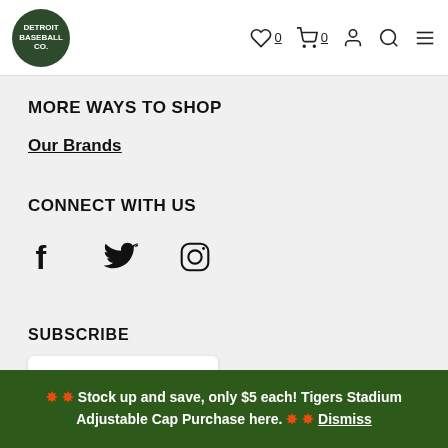Detroit Baseball Company logo, wishlist 0, cart 0, account, search, menu
MORE WAYS TO SHOP
Our Brands
CONNECT WITH US
[Figure (illustration): Social media icons: Facebook, Twitter, Instagram]
SUBSCRIBE
[Figure (other): Google review widget showing 4.7 stars out of 5 with orange stars and Google branding]
🔸🔸 Stock up and save, only $5 each! Tigers Stadium Adjustable Cap Purchase here. 🔸🔸 Dismiss